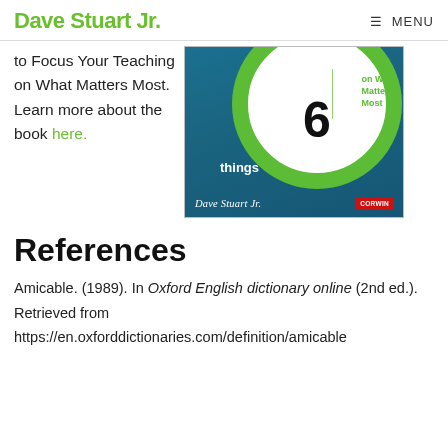Dave Stuart Jr. ≡ MENU
to Focus Your Teaching on What Matters Most. Learn more about the book here.
[Figure (photo): Book cover of Dave Stuart Jr.'s book showing a teal circle with the number 6 on a blue background, with text 'things' and 'on What Matters Most', authored by Dave Stuart Jr., published by Corwin.]
References
Amicable. (1989). In Oxford English dictionary online (2nd ed.). Retrieved from https://en.oxforddictionaries.com/definition/amicable